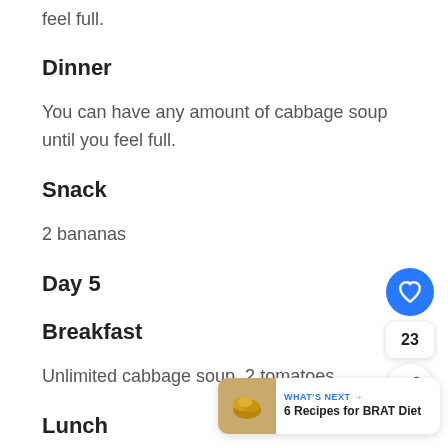feel full.
Dinner
You can have any amount of cabbage soup until you feel full.
Snack
2 bananas
Day 5
Breakfast
Unlimited cabbage soup, 2 tomatoes
Lunch